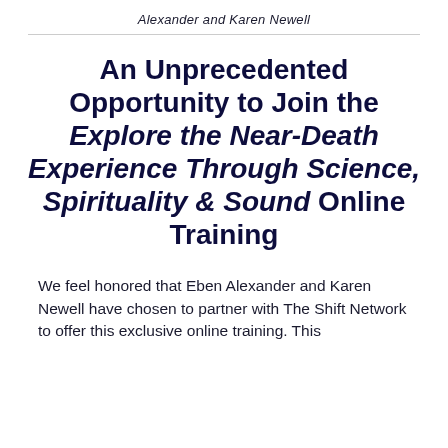Alexander and Karen Newell
An Unprecedented Opportunity to Join the Explore the Near-Death Experience Through Science, Spirituality & Sound Online Training
We feel honored that Eben Alexander and Karen Newell have chosen to partner with The Shift Network to offer this exclusive online training. This